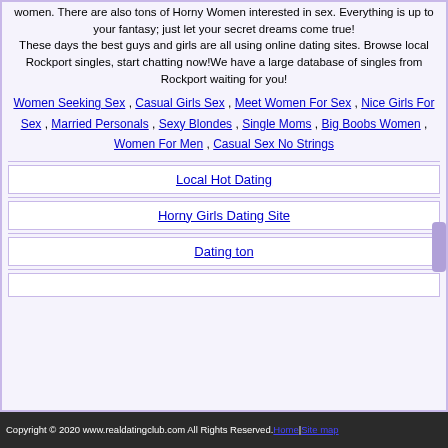women. There are also tons of Horny Women interested in sex. Everything is up to your fantasy; just let your secret dreams come true! These days the best guys and girls are all using online dating sites. Browse local Rockport singles, start chatting now!We have a large database of singles from Rockport waiting for you!
Women Seeking Sex , Casual Girls Sex , Meet Women For Sex , Nice Girls For Sex , Married Personals , Sexy Blondes , Single Moms , Big Boobs Women , Women For Men , Casual Sex No Strings
Local Hot Dating
Horny Girls Dating Site
Dating ton
Copyright © 2020 www.realdatingclub.com All Rights Reserved. Home | Site map